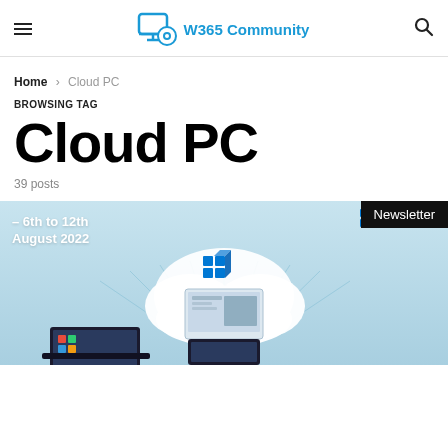W365 Community
Home > Cloud PC
BROWSING TAG
Cloud PC
39 posts
[Figure (screenshot): Thumbnail image showing cloud PC concept with Windows 365 logo on a cloud, connected to devices. Overlaid text reads '– 6th to 12th August 2022' and a 'Newsletter' badge in the top-right corner.]